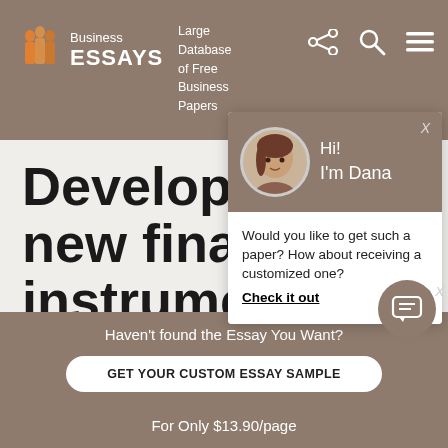Business ESSAYS — Large Database of Free Business Papers
Development of new financial instruments
[Figure (screenshot): Chat popup with avatar of Dana saying: Would you like to get such a paper? How about receiving a customized one? Check it out]
Haven't found the Essay You Want?
GET YOUR CUSTOM ESSAY SAMPLE
For Only $13.90/page